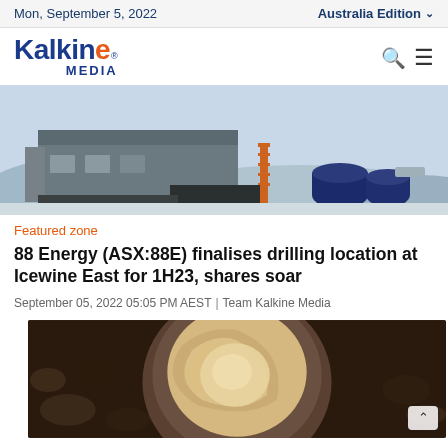Mon, September 5, 2022 | Australia Edition
[Figure (logo): Kalkine Media logo with orange stylized E and blue text]
[Figure (photo): Drilling rig equipment on a frozen/cold landscape, industrial site]
Featured zone
88 Energy (ASX:88E) finalises drilling location at Icewine East for 1H23, shares soar
September 05, 2022 05:05 PM AEST | Team Kalkine Media
[Figure (photo): Close-up of drill core or soil sample in a container, brown earthy tones]